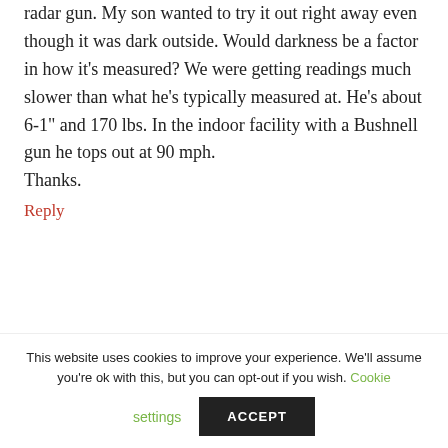We recently got a Pocket Radar Ball Coach radar gun. My son wanted to try it out right away even though it was dark outside. Would darkness be a factor in how it's measured? We were getting readings much slower than what he's typically measured at. He's about 6-1" and 170 lbs. In the indoor facility with a Bushnell gun he tops out at 90 mph.

Thanks.
Reply
This website uses cookies to improve your experience. We'll assume you're ok with this, but you can opt-out if you wish. Cookie settings ACCEPT